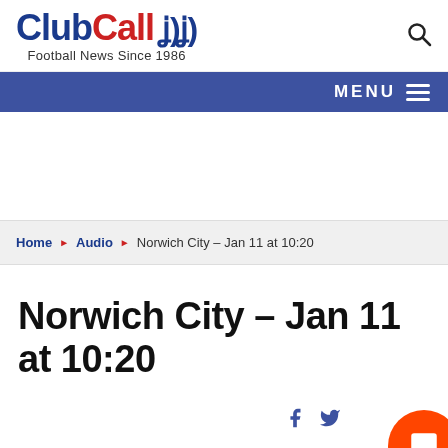ClubCall - Football News Since 1986
MENU
Home ▶ Audio ▶ Norwich City – Jan 11 at 10:20
Norwich City – Jan 11 at 10:20